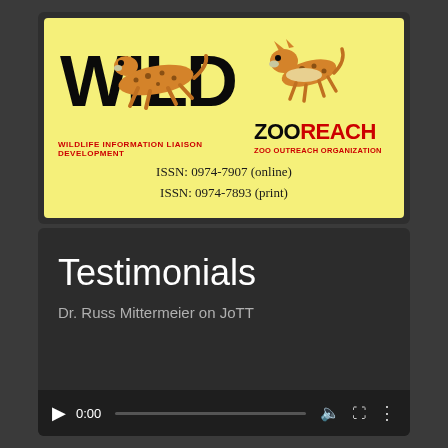[Figure (logo): WILD (Wildlife Information Liaison Development) and ZooReach (Zoo Outreach Organization) logos on yellow background with ISSN numbers: 0974-7907 (online) and 0974-7893 (print)]
Testimonials
Dr. Russ Mittermeier on JoTT